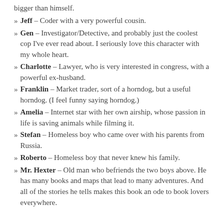bigger than himself.
Jeff – Coder with a very powerful cousin.
Gen – Investigator/Detective, and probably just the coolest cop I've ever read about. I seriously love this character with my whole heart.
Charlotte – Lawyer, who is very interested in congress, with a powerful ex-husband.
Franklin – Market trader, sort of a horndog, but a useful horndog. (I feel funny saying horndog.)
Amelia – Internet star with her own airship, whose passion in life is saving animals while filming it.
Stefan – Homeless boy who came over with his parents from Russia.
Roberto – Homeless boy that never knew his family.
Mr. Hexter – Old man who befriends the two boys above. He has many books and maps that lead to many adventures. And all of the stories he tells makes this book an ode to book lovers everywhere.